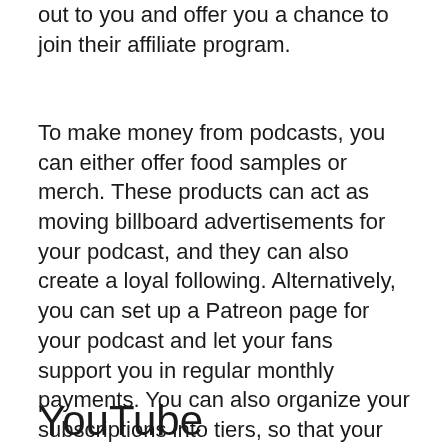out to you and offer you a chance to join their affiliate program.
To make money from podcasts, you can either offer food samples or merch. These products can act as moving billboard advertisements for your podcast, and they can also create a loyal following. Alternatively, you can set up a Patreon page for your podcast and let your fans support you in regular monthly payments. You can also organize your subscriptions into tiers, so that your fans have different levels of support to choose from. This model helps you to build a steady income for your podcast.
YouTube